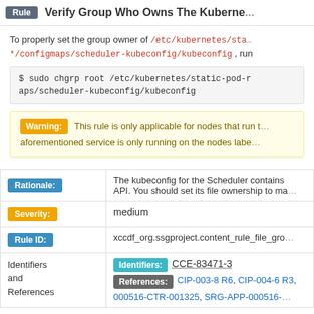Rule   Verify Group Who Owns The Kuberne...
To properly set the group owner of /etc/kubernetes/sta*/configmaps/scheduler-kubeconfig/kubeconfig , run
$ sudo chgrp root /etc/kubernetes/static-pod-resources/configmaps/scheduler-kubeconfig/kubeconfig
Warning: This rule is only applicable for nodes that run the aforementioned service is only running on the nodes labe...
| Label | Value |
| --- | --- |
| Rationale: | The kubeconfig for the Scheduler contains API. You should set its file ownership to ma... |
| Severity: | medium |
| Rule ID: | xccdf_org.ssgproject.content_rule_file_gro... |
| Identifiers and References | Identifiers: CCE-83471-3
References: CIP-003-8 R6, CIP-004-6 R3, 000516-CTR-001325, SRG-APP-000516-... |